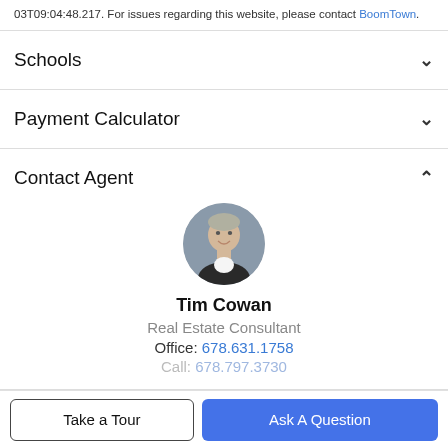03T09:04:48.217. For issues regarding this website, please contact BoomTown.
Schools
Payment Calculator
Contact Agent
[Figure (photo): Circular profile photo of Tim Cowan, a smiling middle-aged man in a dark suit]
Tim Cowan
Real Estate Consultant
Office: 678.631.1758
Call: 678.797.3730
Take a Tour
Ask A Question